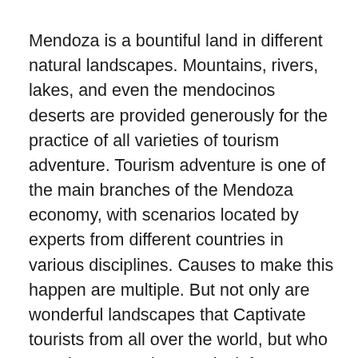Mendoza is a bountiful land in different natural landscapes. Mountains, rivers, lakes, and even the mendocinos deserts are provided generously for the practice of all varieties of tourism adventure. Tourism adventure is one of the main branches of the Mendoza economy, with scenarios located by experts from different countries in various disciplines. Causes to make this happen are multiple. But not only are wonderful landscapes that Captivate tourists from all over the world, but who are also a complete tourist infrastructure that can deliver a wide range of services to close to it. Who practices tourism adventure you want to travel and explore different types of land, exterior in this manner is important with